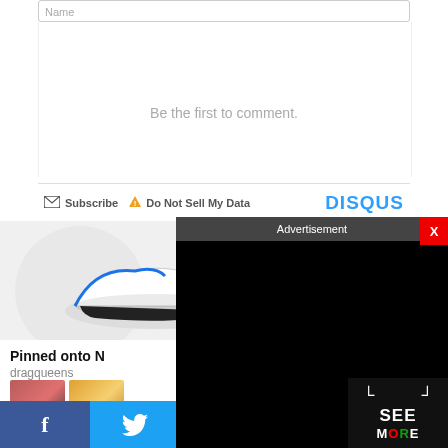Name
Be the first to comment.
Subscribe  Do Not Sell My Data  DISQUS
[Figure (screenshot): Sneaker/shoe product image on grey background]
Pinned onto N
dragqueens
[Figure (photo): Two thumbnail images]
[Figure (screenshot): Advertisement overlay with black content and X close button]
[Figure (infographic): SEE MORE button overlay in bottom right]
f
Twitter bird icon